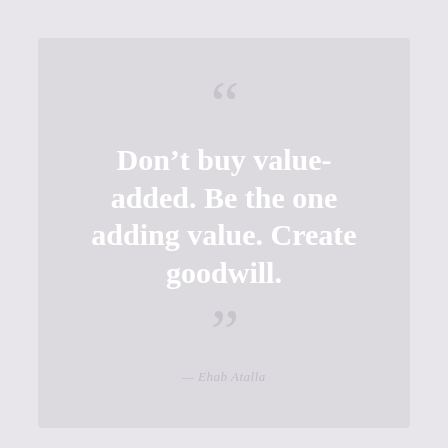[Figure (infographic): Light grey square card with large decorative open and close quotation marks in muted lavender-grey, containing white bold quote text and an italic attribution line.]
Don't buy value-added. Be the one adding value. Create goodwill.